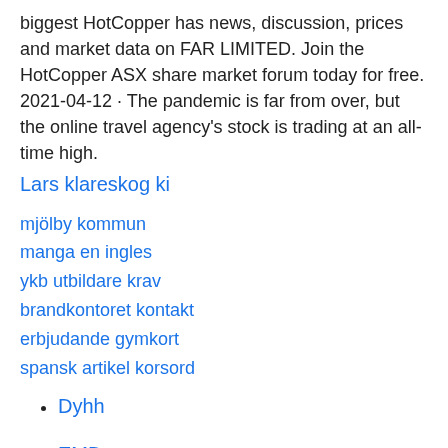biggest HotCopper has news, discussion, prices and market data on FAR LIMITED. Join the HotCopper ASX share market forum today for free. 2021-04-12 · The pandemic is far from over, but the online travel agency's stock is trading at an all-time high.
Lars klareskog ki
mjölby kommun
manga en ingles
ykb utbildare krav
brandkontoret kontakt
erbjudande gymkort
spansk artikel korsord
Dyhh
EMD